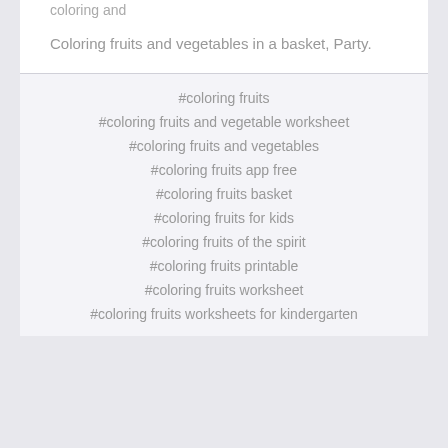coloring and
Coloring fruits and vegetables in a basket, Party.
#coloring fruits
#coloring fruits and vegetable worksheet
#coloring fruits and vegetables
#coloring fruits app free
#coloring fruits basket
#coloring fruits for kids
#coloring fruits of the spirit
#coloring fruits printable
#coloring fruits worksheet
#coloring fruits worksheets for kindergarten